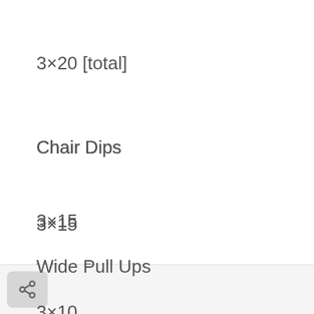3×20 [total]
Chair Dips
3×15
Wide Pull Ups
3×10